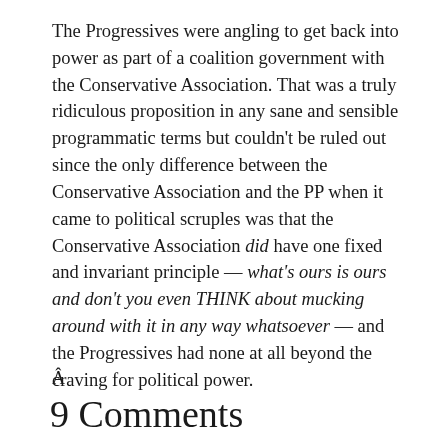The Progressives were angling to get back into power as part of a coalition government with the Conservative Association. That was a truly ridiculous proposition in any sane and sensible programmatic terms but couldn't be ruled out since the only difference between the Conservative Association and the PP when it came to political scruples was that the Conservative Association did have one fixed and invariant principle — what's ours is ours and don't you even THINK about mucking around with it in any way whatsoever — and the Progressives had none at all beyond the craving for political power.
Â
9 Comments